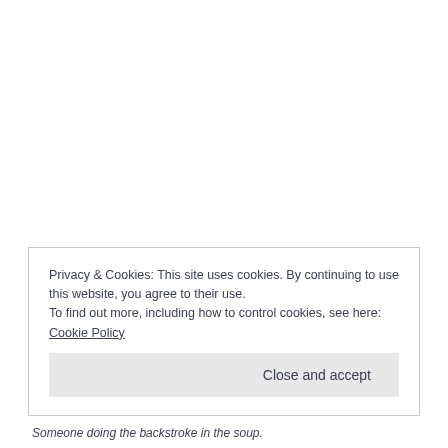Privacy & Cookies: This site uses cookies. By continuing to use this website, you agree to their use.
To find out more, including how to control cookies, see here: Cookie Policy
Close and accept
Someone doing the backstroke in the soup.